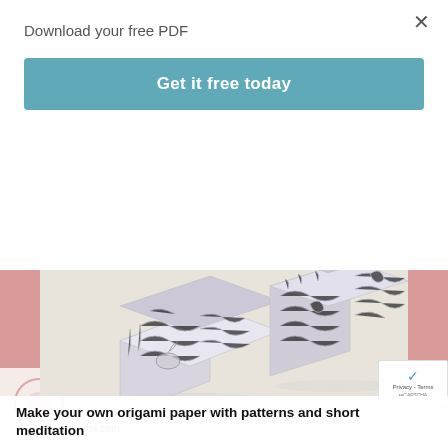Download your free PDF
×
Get it free today
[Figure (screenshot): Screenshot of a webpage showing an origami paper promotional page with decorative pink circles and bars, title 'Origami paper' in serif font, and a photograph of two origami boxes made from patterned white/grey paper sitting on a light surface.]
Make your own origami paper with patterns and short meditation